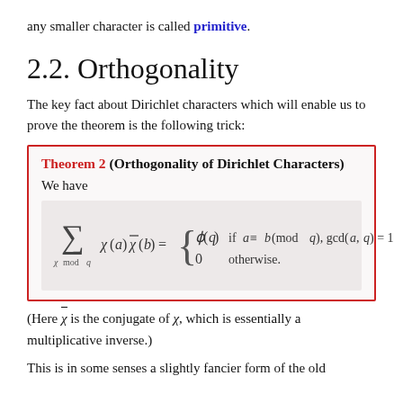any smaller character is called primitive.
2.2. Orthogonality
The key fact about Dirichlet characters which will enable us to prove the theorem is the following trick:
Theorem 2 (Orthogonality of Dirichlet Characters)
We have
(Here \overline{\chi} is the conjugate of \chi, which is essentially a multiplicative inverse.)
This is in some senses a slightly fancier form of the old